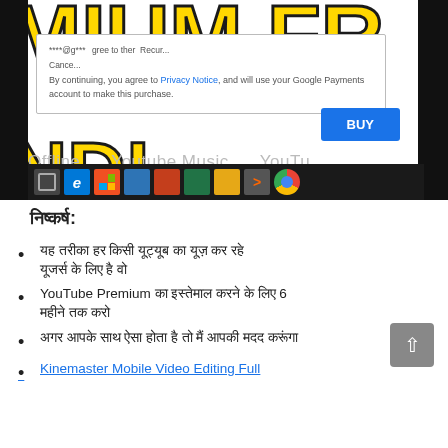[Figure (screenshot): Screenshot of a YouTube Premium purchase dialog with large yellow 'MIUM FR' and 'NDI' text in the background. The dialog shows a Google Payments purchase prompt with a BUY button. Windows taskbar is visible at the bottom.]
निष्कर्ष:
यह तरीका हर किसी यूट्यूब का यूज़ कर रहे यूजर्स के लिए है वो
YouTube Premium का इस्तेमाल करने के लिए 6 महीने तक करो
अगर आपके साथ ऐसा होता है तो मैं आपकी मदद करूंगा
Kinemaster Mobile Video Editing Full